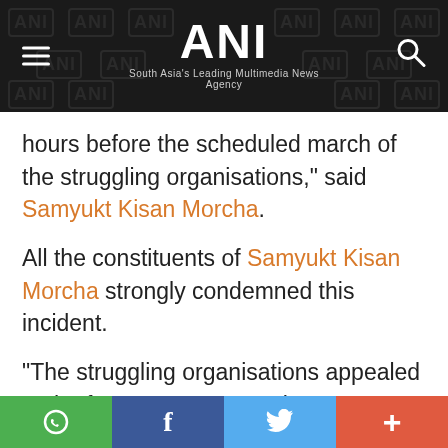ANI — South Asia's Leading Multimedia News Agency
hours before the scheduled march of the struggling organisations," said Samyukt Kisan Morcha.
All the constituents of Samyukt Kisan Morcha strongly condemned this incident.
"The struggling organisations appealed to the farmers to stay on the protest venues and continue a peaceful
WhatsApp | Facebook | Twitter | More